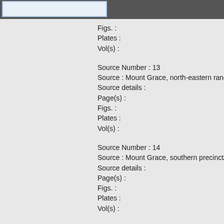Figs. :
Plates :
Vol(s) :
Source Number : 13
Source : Mount Grace, north-eastern range of clois
Source details :
Page(s) :
Figs. :
Plates :
Vol(s) :
Source Number : 14
Source : Mount Grace, southern precinct/pencil su
Source details :
Page(s) :
Figs. :
Plates :
Vol(s) :
Source Number : 15
Source : Mount Grace, south-eastern range of cloi
Source details :
Page(s) :
Figs. :
Plates :
Vol(s) :
Source Number : 16
Source : Mount Grace, south-western range of clo
Source details :